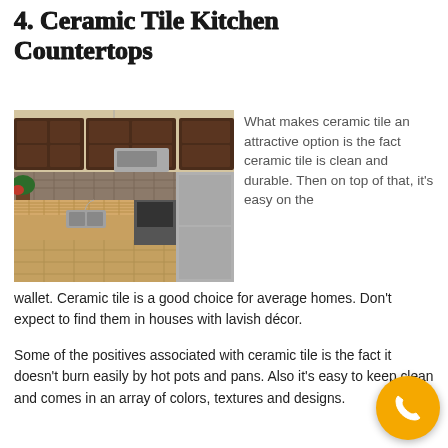4. Ceramic Tile Kitchen Countertops
[Figure (photo): Kitchen interior showing ceramic tile countertop on island, dark wood cabinets, stainless steel appliances, and pendant lighting]
What makes ceramic tile an attractive option is the fact ceramic tile is clean and durable. Then on top of that, it's easy on the wallet. Ceramic tile is a good choice for average homes. Don't expect to find them in houses with lavish décor.
Some of the positives associated with ceramic tile is the fact it doesn't burn easily by hot pots and pans. Also it's easy to keep clean and comes in an array of colors, textures and designs.